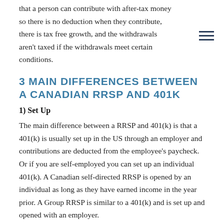that a person can contribute with after-tax money so there is no deduction when they contribute, there is tax free growth, and the withdrawals aren't taxed if the withdrawals meet certain conditions.
3 MAIN DIFFERENCES BETWEEN A CANADIAN RRSP AND 401K
1) Set Up
The main difference between a RRSP and 401(k) is that a 401(k) is usually set up in the US through an employer and contributions are deducted from the employee's paycheck. Or if you are self-employed you can set up an individual 401(k). A Canadian self-directed RRSP is opened by an individual as long as they have earned income in the year prior. A Group RRSP is similar to a 401(k) and is set up and opened with an employer.